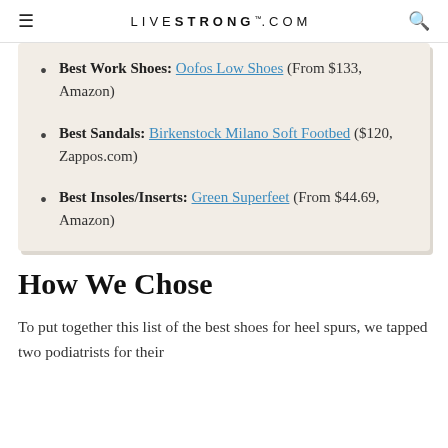LIVESTRONG.COM
Best Work Shoes: Oofos Low Shoes (From $133, Amazon)
Best Sandals: Birkenstock Milano Soft Footbed ($120, Zappos.com)
Best Insoles/Inserts: Green Superfeet (From $44.69, Amazon)
How We Chose
To put together this list of the best shoes for heel spurs, we tapped two podiatrists for their